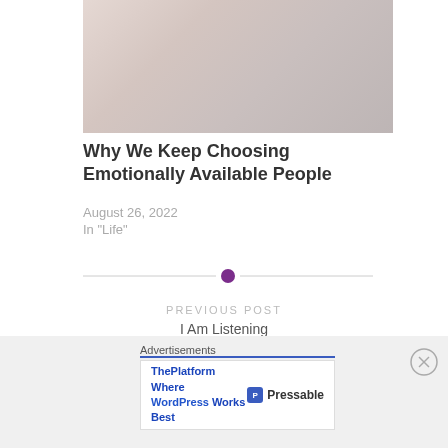[Figure (photo): Partial photo of a person in white clothing, softly lit background]
Why We Keep Choosing Emotionally Available People
August 26, 2022
In "Life"
[Figure (other): Horizontal divider with purple circle in the center]
PREVIOUS POST
I Am Listening
Advertisements
[Figure (other): Advertisement banner: ThePlatform Where WordPress Works Best — Pressable]